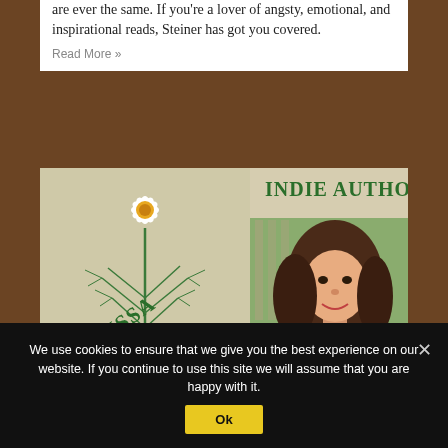are ever the same. If you're a lover of angsty, emotional, and inspirational reads, Steiner has got you covered.
Read More »
[Figure (photo): Indie Authors promotional image featuring text 'INDIE AUTHORS', 'MELISSA GRACE', '2021', a daisy flower, herb illustration, and a photo of a smiling woman with long dark hair outdoors.]
We use cookies to ensure that we give you the best experience on our website. If you continue to use this site we will assume that you are happy with it.